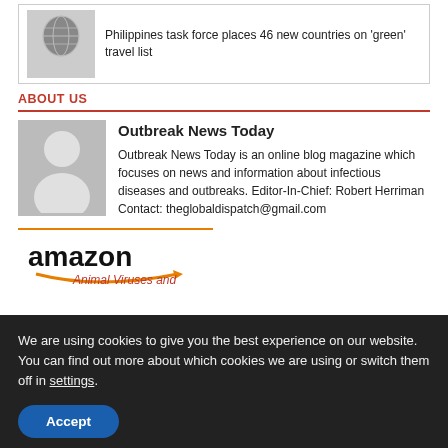[Figure (illustration): Article thumbnail showing a head silhouette with a globe/world map inside]
Philippines task force places 46 new countries on 'green' travel list
ABOUT US
[Figure (illustration): Gray avatar/profile placeholder image showing a person silhouette]
Outbreak News Today
Outbreak News Today is an online blog magazine which focuses on news and information about infectious diseases and outbreaks. Editor-In-Chief: Robert Herriman Contact: theglobaldispatch@gmail.com
[Figure (logo): Amazon logo with orange arrow and text 'Animal Viruses and...']
We are using cookies to give you the best experience on our website. You can find out more about which cookies we are using or switch them off in settings.
Accept